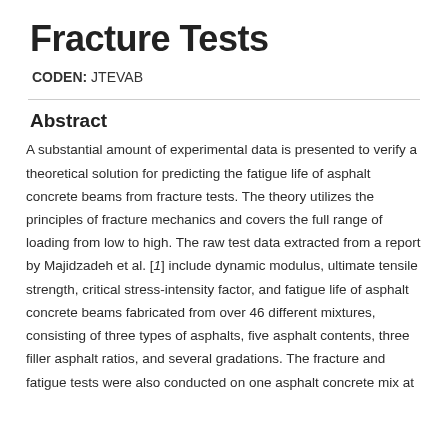Fracture Tests
CODEN: JTEVAB
Abstract
A substantial amount of experimental data is presented to verify a theoretical solution for predicting the fatigue life of asphalt concrete beams from fracture tests. The theory utilizes the principles of fracture mechanics and covers the full range of loading from low to high. The raw test data extracted from a report by Majidzadeh et al. [1] include dynamic modulus, ultimate tensile strength, critical stress-intensity factor, and fatigue life of asphalt concrete beams fabricated from over 46 different mixtures, consisting of three types of asphalts, five asphalt contents, three filler asphalt ratios, and several gradations. The fracture and fatigue tests were also conducted on one asphalt concrete mix at